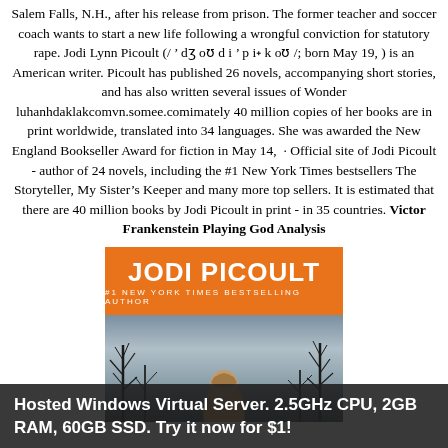Salem Falls, N.H., after his release from prison. The former teacher and soccer coach wants to start a new life following a wrongful conviction for statutory rape. Jodi Lynn Picoult (/ ˈ dʒ oʊ d i ˈ p iː k oʊ /; born May 19, ) is an American writer. Picoult has published 26 novels, accompanying short stories, and has also written several issues of Wonder luhanhdaklakcomvn.somee.comimately 40 million copies of her books are in print worldwide, translated into 34 languages. She was awarded the New England Bookseller Award for fiction in May 14, · Official site of Jodi Picoult - author of 24 novels, including the #1 New York Times bestsellers The Storyteller, My Sister's Keeper and many more top sellers. It is estimated that there are 40 million books by Jodi Picoult in print - in 35 countries. Victor Frankenstein Playing God Analysis
[Figure (illustration): Book cover for Jodi Picoult with orange header band showing 'JODI PICOULT' in large white text and '#1 NEW YORK TIMES BESTSELLING AUTHOR' below, with a moody winter landscape photo showing bare trees and a figure with long hair.]
Hosted Windows Virtual Server. 2.5GHz CPU, 2GB RAM, 60GB SSD. Try it now for $1!